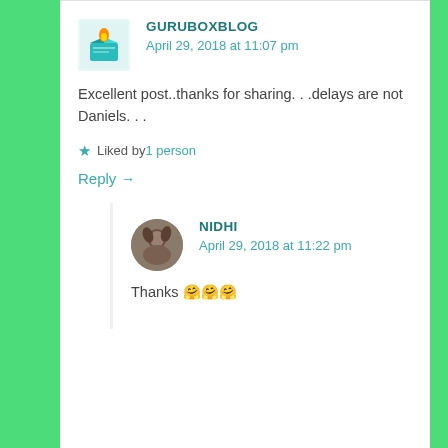GURUBOXBLOG
April 29, 2018 at 11:07 pm
Excellent post..thanks for sharing. . .delays are not Daniels. . .
Liked by 1 person
Reply →
NIDHI
April 29, 2018 at 11:22 pm
Thanks 🤗🤗🤗